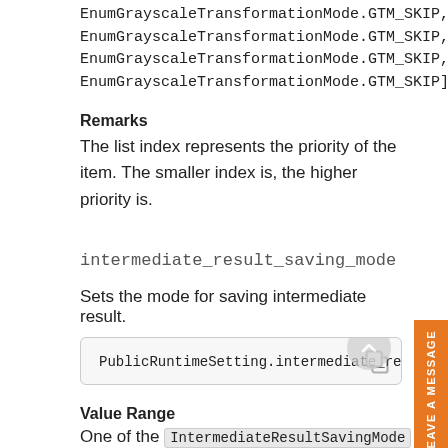EnumGrayscaleTransformationMode.GTM_SKIP, EnumGrayscaleTransformationMode.GTM_SKIP, EnumGrayscaleTransformationMode.GTM_SKIP, EnumGrayscaleTransformationMode.GTM_SKIP]
Remarks
The list index represents the priority of the item. The smaller index is, the higher priority is.
intermediate_result_saving_mode
Sets the mode for saving intermediate result.
PublicRuntimeSetting.intermediate_result_sav
Value Range
One of the IntermediateResultSavingMode Enumeration items.